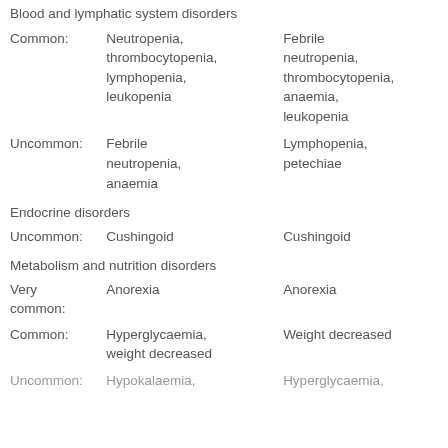Blood and lymphatic system disorders
Common: Neutropenia, thrombocytopenia, lymphopenia, leukopenia | Febrile neutropenia, thrombocytopenia, anaemia, leukopenia
Uncommon: Febrile neutropenia, anaemia | Lymphopenia, petechiae
Endocrine disorders
Uncommon: Cushingoid | Cushingoid
Metabolism and nutrition disorders
Very common: Anorexia | Anorexia
Common: Hyperglycaemia, weight decreased | Weight decreased
Uncommon: Hypokalaemia | Hyperglycaemia